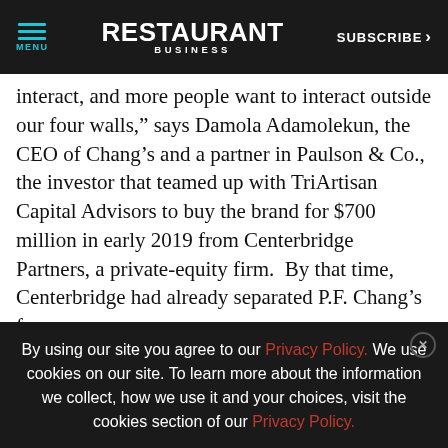MENU | RESTAURANT BUSINESS | SUBSCRIBE >
interact, and more people want to interact outside our four walls,” says Damola Adamolekun, the CEO of Chang’s and a partner in Paulson & Co., the investor that teamed up with TriArtisan Capital Advisors to buy the brand for $700 million in early 2019 from Centerbridge Partners, a private-equity firm.  By that time, Centerbridge had already separated P.F. Chang’s f[rom its] fast-cas[ual brand that] would b[ecome...]
[Figure (screenshot): Advertisement overlay: dark background with white bold text 'SkyTab At Your Service.' with a close X button]
[Figure (other): reCAPTCHA widget with Privacy - Terms text]
By using our site you agree to our Privacy Policy. We use cookies on our site. To learn more about the information we collect, how we use it and your choices, visit the cookies section of our Privacy Policy.